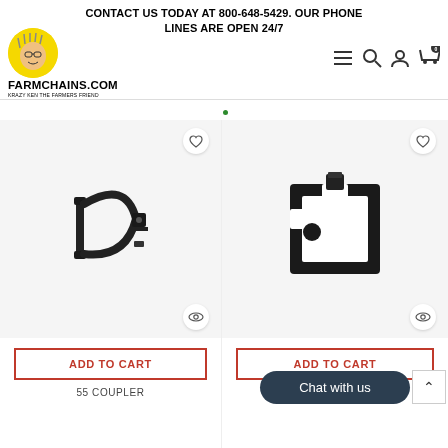CONTACT US TODAY AT 800-648-5429. OUR PHONE LINES ARE OPEN 24/7
[Figure (logo): FarmChains.com logo with cartoon farmer face on yellow circle background, text FARMCHAINS.COM KRAZY KEN THE FARMERS FRIEND]
[Figure (screenshot): Navigation icons: hamburger menu, search, user account, shopping cart with badge 0]
[Figure (photo): Photo of a 55 Coupler chain attachment hardware, black metal, U-shaped clip with pin]
[Figure (photo): Photo of a 55 Air Attachment, black metal bracket with rectangular cutout and hole]
ADD TO CART
Chat with us
55 COUPLER
55 AIR ATTACHMENT